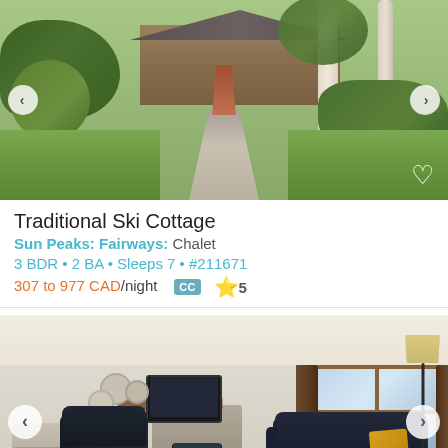[Figure (photo): Exterior photo of a chalet property with green lawn, gravel driveway, trees, and a house in the background. Navigation arrows on sides and heart icon at bottom right.]
Traditional Ski Cottage
Sun Peaks: Fairways: Chalet
3 BDR • 2 BA • Sleeps 7 • #211671
307 to 977 CAD/night  CC  ⭐5
[Figure (photo): Interior photo of a living room with leather chairs, stone fireplace, flat-screen TV, large windows, sofa with yellow cushions, and a floor lamp. Navigation arrows on sides.]